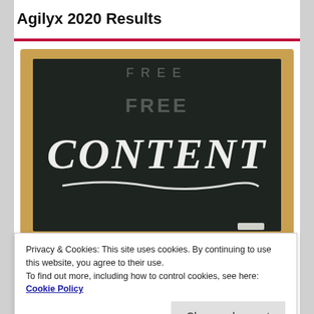Agilyx 2020 Results
[Figure (photo): A chalkboard with 'CONTENT' written in white chalk, with a chalk underline beneath it. The board has a wooden frame and an eraser on the right side.]
BUY A SUBSCRIPTION
Privacy & Cookies: This site uses cookies. By continuing to use this website, you agree to their use.
To find out more, including how to control cookies, see here: Cookie Policy
Close and accept